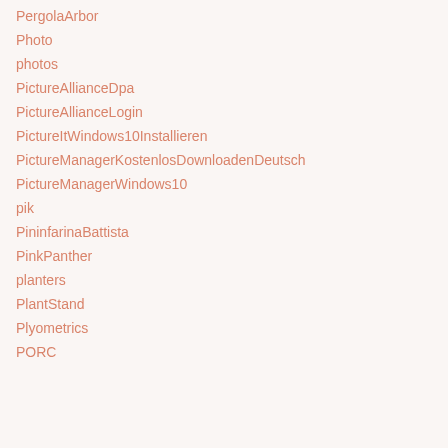PergolaArbor
Photo
photos
PictureAllianceDpa
PictureAllianceLogin
PictureItWindows10Installieren
PictureManagerKostenlosDownloadenDeutsch
PictureManagerWindows10
pik
PininfarinaBattista
PinkPanther
planters
PlantStand
Plyometrics
PORC